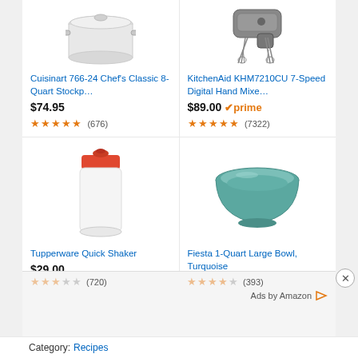[Figure (photo): Cuisinart 766-24 Chef's Classic 8-Quart Stockpot - white/silver pot image (top partially cut off)]
[Figure (photo): KitchenAid KHM7210CU 7-Speed Digital Hand Mixer with whisk attachments (top partially cut off)]
Cuisinart 766-24 Chef's Classic 8-Quart Stockp…
KitchenAid KHM7210CU 7-Speed Digital Hand Mixe…
$74.95
$89.00 ✓prime
★★★★★ (676)
★★★★★ (7322)
[Figure (photo): Tupperware Quick Shaker - white shaker with red lid]
[Figure (photo): Fiesta 1-Quart Large Bowl, Turquoise - teal/turquoise ceramic bowl]
Tupperware Quick Shaker
Fiesta 1-Quart Large Bowl, Turquoise
$29.00 (partially visible)
$23.00 $29.00 (partially visible)
★★☆☆☆ (720)
★★★★☆ (393)
Ads by Amazon ▷
Category: Recipes